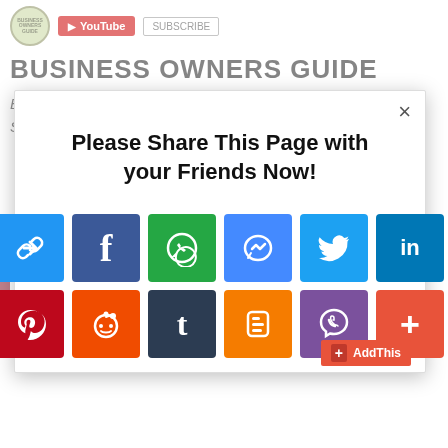[Figure (logo): Business Owners Guide circular logo with leaf/globe design]
[Figure (screenshot): YouTube channel subscribe button badge in red]
BUSINESS OWNERS GUIDE
BUSINESS OWNERS GUIDE Provides Free Information Service For So Many Online Earning Topic By Using
[Figure (infographic): Social sharing modal popup with title 'Please Share This Page with your Friends Now!' and 12 social media share buttons: link, Facebook, WhatsApp, Messenger, Twitter, LinkedIn, Pinterest, Reddit, Tumblr, Blogger, Viber, and More (+)]
AddThis